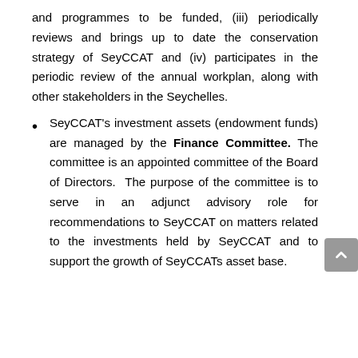and programmes to be funded, (iii) periodically reviews and brings up to date the conservation strategy of SeyCCAT and (iv) participates in the periodic review of the annual workplan, along with other stakeholders in the Seychelles.
SeyCCAT's investment assets (endowment funds) are managed by the Finance Committee. The committee is an appointed committee of the Board of Directors. The purpose of the committee is to serve in an adjunct advisory role for recommendations to SeyCCAT on matters related to the investments held by SeyCCAT and to support the growth of SeyCCATs asset base.